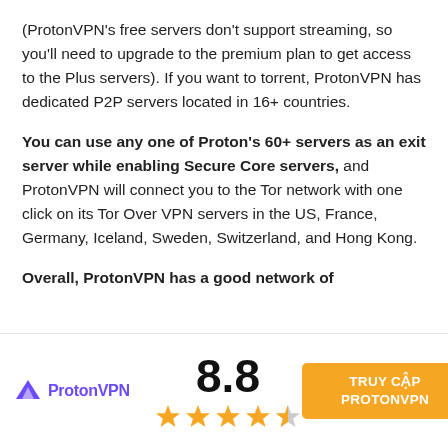(ProtonVPN's free servers don't support streaming, so you'll need to upgrade to the premium plan to get access to the Plus servers). If you want to torrent, ProtonVPN has dedicated P2P servers located in 16+ countries.
You can use any one of Proton's 60+ servers as an exit server while enabling Secure Core servers, and ProtonVPN will connect you to the Tor network with one click on its Tor Over VPN servers in the US, France, Germany, Iceland, Sweden, Switzerland, and Hong Kong.
Overall, ProtonVPN has a good network of
[Figure (logo): ProtonVPN logo with purple triangle icon and bold purple text]
8.8
[Figure (other): 4.5 out of 5 stars rating (4 filled gold stars and 1 half star)]
TRUY CẬP PROTONVPN